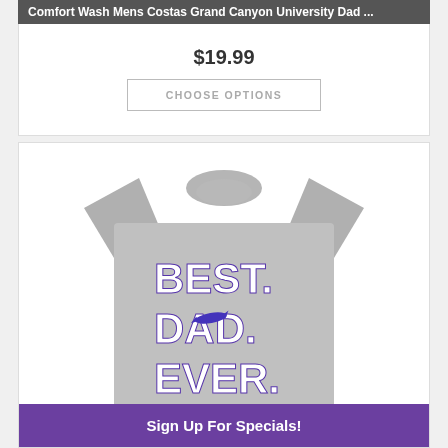Comfort Wash Mens Costas Grand Canyon University Dad ...
$19.99
CHOOSE OPTIONS
[Figure (photo): Gray t-shirt with text BEST. DAD. EVER. and Grand Canyon University logo in white and purple letters]
Sign Up For Specials!